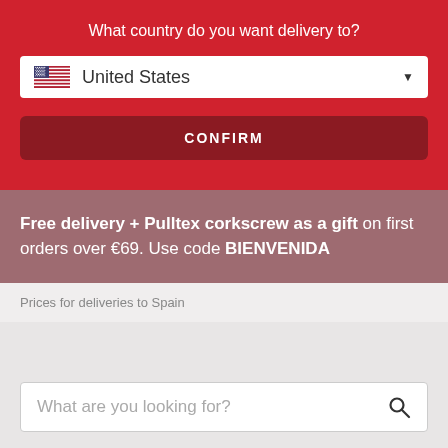What country do you want delivery to?
United States
CONFIRM
Free delivery + Pulltex corkscrew as a gift on first orders over €69. Use code BIENVENIDA
Prices for deliveries to Spain
What are you looking for?